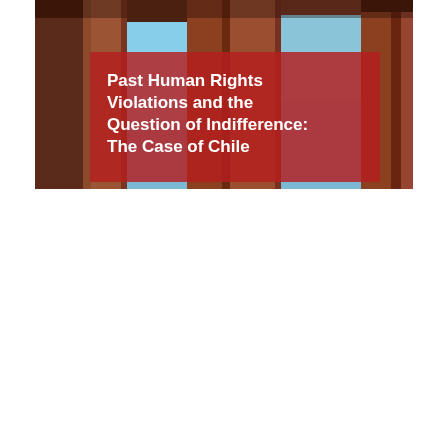[Figure (photo): Book cover image showing a building exterior with reddish-brown wooden pillars/columns against a blue sky. A bold red semi-transparent overlay rectangle contains white bold text reading: 'Past Human Rights Violations and the Question of Indifference: The Case of Chile']